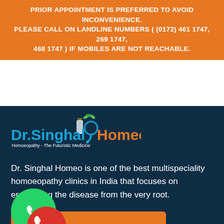PRIOR APPOINTMENT IS PREFERRED TO AVOID INCONVENIENCE. PLEASE CALL ON LANDLINE NUMBERS ( (0172) 461 1747, 269 1747, 468 1747 ) IF MOBILES ARE NOT REACHABLE.
[Figure (logo): Dr. Singhal Homeo logo with tagline Homoeopathy - The Futuristic Medicine]
Dr. Singhal Homeo is one of the best multispeciality homoeopathy clinics in India that focuses on eradicating the disease from the very root.
BOOK APPOINTMENT